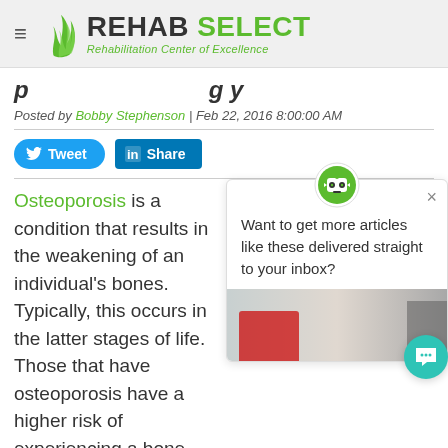[Figure (logo): Rehab Select logo with green flame icon and tagline 'Rehabilitation Center of Excellence']
p ... g y
Posted by Bobby Stephenson | Feb 22, 2016 8:00:00 AM
[Figure (infographic): Twitter Tweet button and LinkedIn Share button]
Osteoporosis is a condition that results in the weakening of an individual's bones. Typically, this occurs in the latter stages of life. Those that have osteoporosis have a higher risk of experiencing a bone
[Figure (infographic): Popup widget with robot icon asking: Want to get more articles like these delivered straight to your inbox?]
[Figure (photo): Partial photo showing a desk with papers]